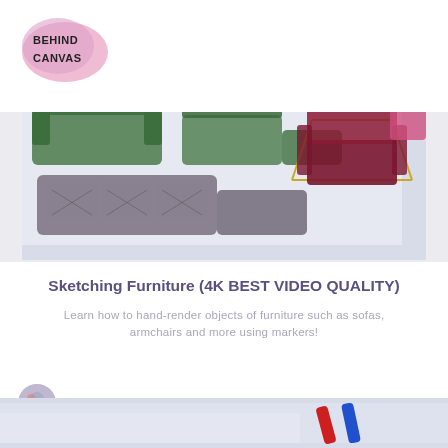[Figure (logo): Behind Canvas logo — pink/lavender brushstroke blob with text BEHIND CANVAS in dark handwritten font]
[Figure (photo): Overhead view of furniture design sketches with marker renderings of sofas and armchairs in green, gray, and red-maroon colors on white paper]
Sketching Furniture (4K BEST VIDEO QUALITY)
Learn how to hand-render objects of furniture such as sofas, armchairs and more using markers!
[Figure (photo): Small circular avatar photo of Stephanie Galuzo]
Stephanie Galuzo
£34.99
[Figure (photo): Partial image at bottom of page showing art/design sketching materials]